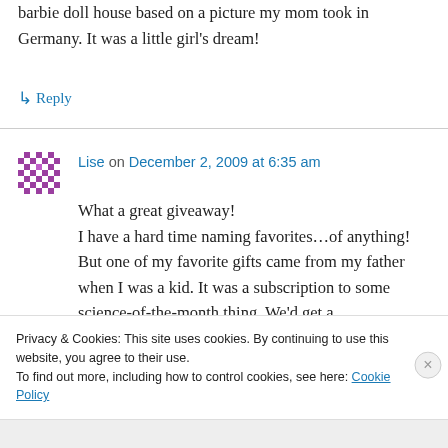barbie doll house based on a picture my mom took in Germany. It was a little girl's dream!
↳ Reply
Lise on December 2, 2009 at 6:35 am
What a great giveaway! I have a hard time naming favorites…of anything! But one of my favorite gifts came from my father when I was a kid. It was a subscription to some science-of-the-month thing. We'd get a
Privacy & Cookies: This site uses cookies. By continuing to use this website, you agree to their use.
To find out more, including how to control cookies, see here: Cookie Policy
Close and accept